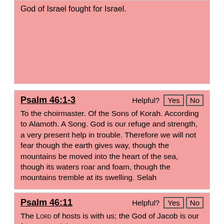God of Israel fought for Israel.
Psalm 46:1-3
To the choirmaster. Of the Sons of Korah. According to Alamoth. A Song. God is our refuge and strength, a very present help in trouble. Therefore we will not fear though the earth gives way, though the mountains be moved into the heart of the sea, though its waters roar and foam, though the mountains tremble at its swelling. Selah
Psalm 46:11
The Lord of hosts is with us; the God of Jacob is our fortress. Selah